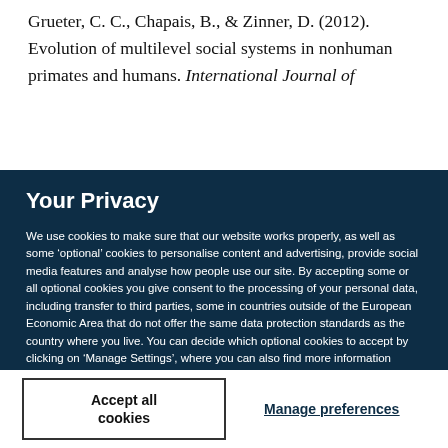Grueter, C. C., Chapais, B., & Zinner, D. (2012). Evolution of multilevel social systems in nonhuman primates and humans. International Journal of
Your Privacy
We use cookies to make sure that our website works properly, as well as some ‘optional’ cookies to personalise content and advertising, provide social media features and analyse how people use our site. By accepting some or all optional cookies you give consent to the processing of your personal data, including transfer to third parties, some in countries outside of the European Economic Area that do not offer the same data protection standards as the country where you live. You can decide which optional cookies to accept by clicking on ‘Manage Settings’, where you can also find more information about how your personal data is processed. Further information can be found in our privacy policy.
Accept all cookies
Manage preferences